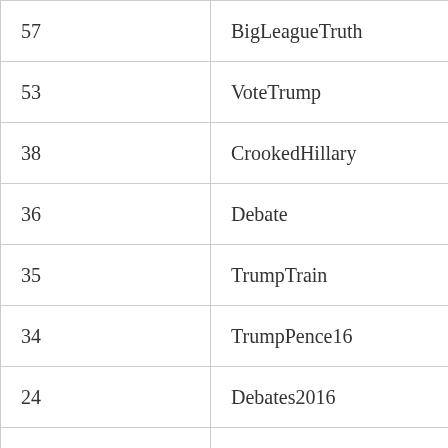| 57 | BigLeagueTruth |
| 53 | VoteTrump |
| 38 | CrookedHillary |
| 36 | Debate |
| 35 | TrumpTrain |
| 34 | TrumpPence16 |
| 24 | Debates2016 |
| 22 | ICYMI |
| 20 | SuperTuesday |
| 18 | VPDebate |